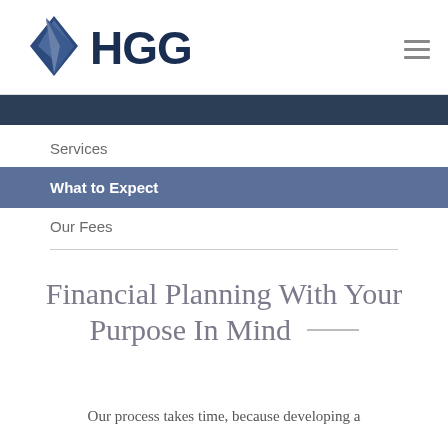[Figure (logo): HGG financial logo with blue diamond/sail shape and bold dark navy HGG text]
[Figure (other): Hamburger menu icon (three horizontal lines) in gray]
[Figure (other): Dark navy/teal decorative banner strip]
Services
What to Expect
Our Fees
Financial Planning With Your Purpose In Mind
Our process takes time, because developing a